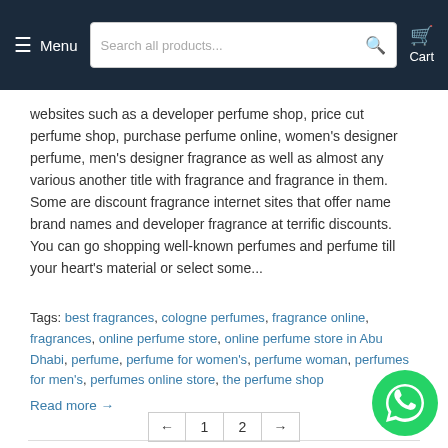Menu | Search all products... | Cart
websites such as a developer perfume shop, price cut perfume shop, purchase perfume online, women's designer perfume, men's designer fragrance as well as almost any various another title with fragrance and fragrance in them. Some are discount fragrance internet sites that offer name brand names and developer fragrance at terrific discounts. You can go shopping well-known perfumes and perfume till your heart's material or select some...
Tags: best fragrances, cologne perfumes, fragrance online, fragrances, online perfume store, online perfume store in Abu Dhabi, perfume, perfume for women's, perfume woman, perfumes for men's, perfumes online store, the perfume shop
Read more →
[Figure (other): WhatsApp contact button (green circle with WhatsApp logo)]
← 1 2 →